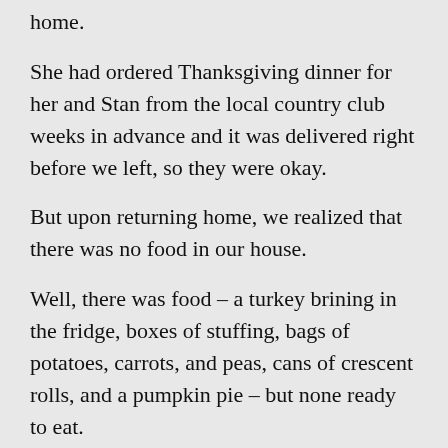home.
She had ordered Thanksgiving dinner for her and Stan from the local country club weeks in advance and it was delivered right before we left, so they were okay.
But upon returning home, we realized that there was no food in our house.
Well, there was food – a turkey brining in the fridge, boxes of stuffing, bags of potatoes, carrots, and peas, cans of crescent rolls, and a pumpkin pie – but none ready to eat.
All the stores were closed and the friends and family we'd canceled with were off to other venues.